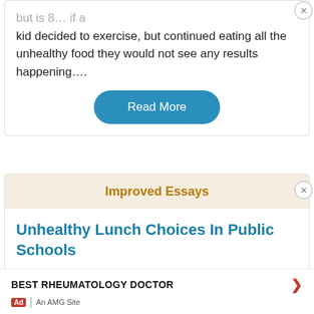but healthy is 80%... if a kid decided to exercise, but continued eating all the unhealthy food they would not see any results happening....
Read More
Improved Essays
Unhealthy Lunch Choices In Public Schools
BEST RHEUMATOLOGY DOCTOR
Ad | An AMG Site